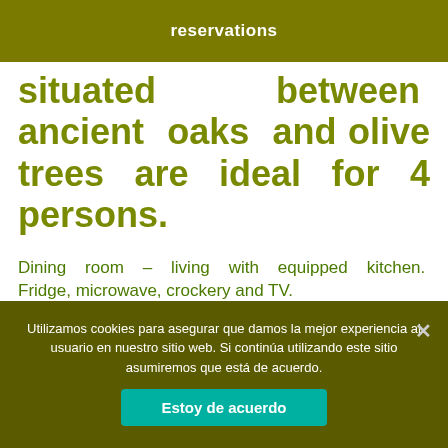reservations
situated between ancient oaks and olive trees are ideal for 4 persons.
Dining room – living with equipped kitchen. Fridge, microwave, crockery and TV.
One double room with a double bed and one double room with twin beds.
They have blankets. You should bring your own bed
Utilizamos cookies para asegurar que damos la mejor experiencia al usuario en nuestro sitio web. Si continúa utilizando este sitio asumiremos que está de acuerdo.
Estoy de acuerdo